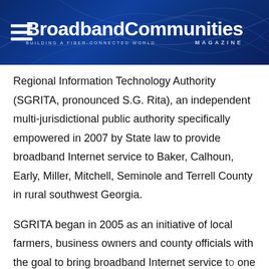BroadbandCommunities Magazine — Building a Fiber-Connected World
Regional Information Technology Authority (SGRITA, pronounced S.G. Rita), an independent multi-jurisdictional public authority specifically empowered in 2007 by State law to provide broadband Internet service to Baker, Calhoun, Early, Miller, Mitchell, Seminole and Terrell County in rural southwest Georgia.
SGRITA began in 2005 as an initiative of local farmers, business owners and county officials with the goal to bring broadband Internet service to one of the nation's poorest rural regions, where